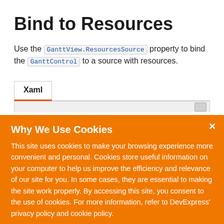Bind to Resources
Use the GanttView.ResourcesSource property to bind the GanttControl to a source with resources.
Xaml
Why We Use Cookies
This site uses cookies to make your browsing experience more convenient and personal. Cookies store useful information on your computer to help us improve the efficiency and relevance of our site for you. In some cases, they are essential to making the site work properly. By accessing this site, you consent to the use of cookies. For more information, refer to DevExpress' privacy policy and cookie policy.
I UNDERSTAND